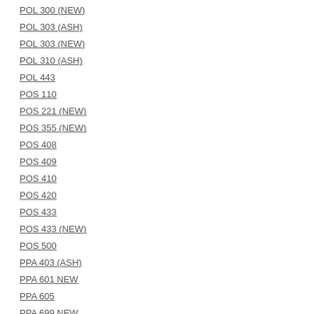POL 300 (NEW)
POL 303 (ASH)
POL 303 (NEW)
POL 310 (ASH)
POL 443
POS 110
POS 221 (NEW)
POS 355 (NEW)
POS 408
POS 409
POS 410
POS 420
POS 433
POS 433 (NEW)
POS 500
PPA 403 (ASH)
PPA 601 NEW
PPA 605
PPA 699 NEW